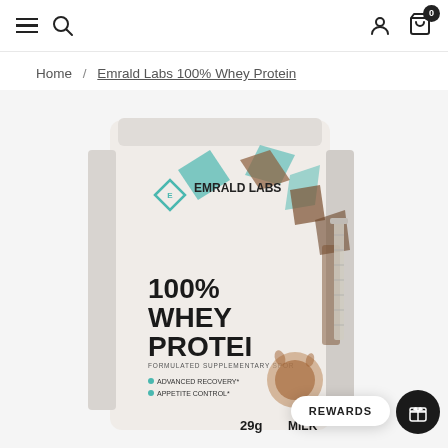Navigation bar with hamburger menu, search icon, user icon, and cart (0)
Home / Emrald Labs 100% Whey Protein
[Figure (photo): Emrald Labs 100% Whey Protein powder bag in white packaging with teal and brown geometric design, showing '100% WHEY PROTEIN', 'FORMULATED SUPPLEMENTARY SPORT', 'ADVANCED RECOVERY', 'APPETITE CONTROL', '29g', 'MILK' text on label, with chocolate milk splash image]
REWARDS